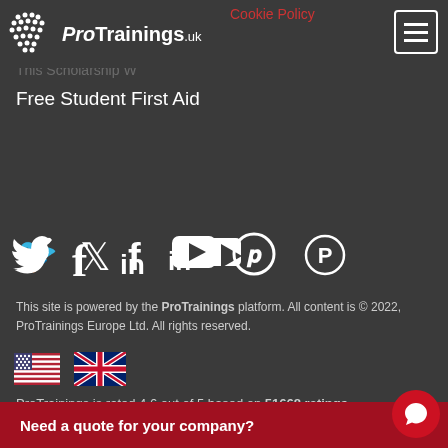ProTrainings.uk
Cookie Policy
Free Student First Aid
[Figure (illustration): Social media icons: Twitter, Facebook, LinkedIn, YouTube, Pinterest]
This site is powered by the ProTrainings platform. All content is © 2022, ProTrainings Europe Ltd. All rights reserved.
[Figure (illustration): US flag and UK flag icons for language selection]
ProTrainings is rated 4.6 out of 5 based on 51668 ratings.
Need a quote for your company?